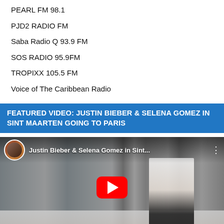PEARL FM 98.1
PJD2 RADIO FM
Saba Radio Q 93.9 FM
SOS RADIO 95.9FM
TROPIXX 105.5 FM
Voice of The Caribbean Radio
FEATURED VIDEO: JUSTIN BIEBER & SELENA GOMEZ IN SINT MAARTEN GOING TO PARIS
[Figure (screenshot): YouTube video thumbnail showing an airport terminal scene with the title 'Justin Bieber & Selena Gomez in Sint...' A red YouTube play button is centered on the thumbnail. A circular avatar of a man appears in the top-left corner next to the video title.]